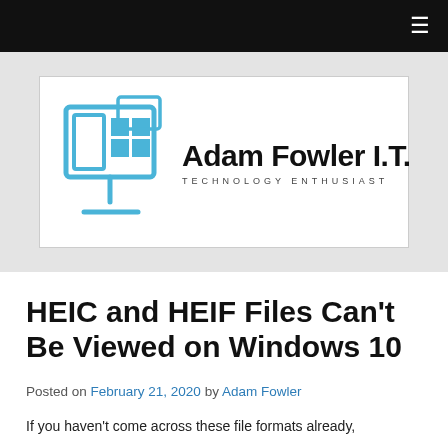≡
[Figure (logo): Adam Fowler I.T. logo with blue Windows-style monitor icon and text 'Adam Fowler I.T.' and tagline 'TECHNOLOGY ENTHUSIAST']
HEIC and HEIF Files Can't Be Viewed on Windows 10
Posted on February 21, 2020 by Adam Fowler
If you haven't come across these file formats already,